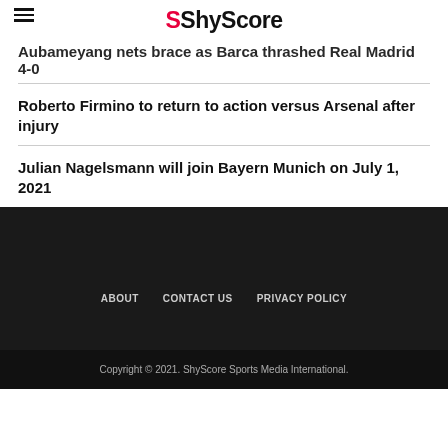ShyScore
Aubameyang nets brace as Barca thrashed Real Madrid 4-0
Roberto Firmino to return to action versus Arsenal after injury
Julian Nagelsmann will join Bayern Munich on July 1, 2021
ABOUT   CONTACT US   PRIVACY POLICY
Copyright © 2021. ShyScore Sports Media International.